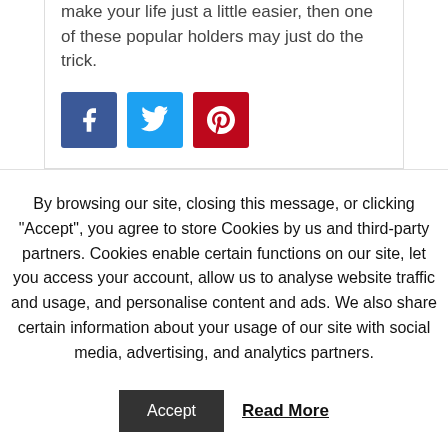make your life just a little easier, then one of these popular holders may just do the trick.
[Figure (infographic): Three social media share buttons: Facebook (blue), Twitter (light blue), Pinterest (red)]
By browsing our site, closing this message, or clicking "Accept", you agree to store Cookies by us and third-party partners. Cookies enable certain functions on our site, let you access your account, allow us to analyse website traffic and usage, and personalise content and ads. We also share certain information about your usage of our site with social media, advertising, and analytics partners.
Accept  Read More